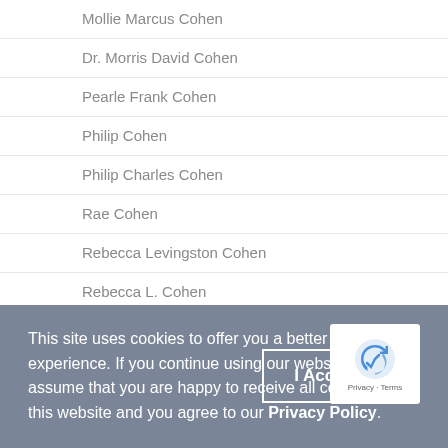Mollie Marcus Cohen
Dr. Morris David Cohen
Pearle Frank Cohen
Philip Cohen
Philip Charles Cohen
Rae Cohen
Rebecca Levingston Cohen
Rebecca L. Cohen
Rebekah M. Cohen
Col. Samuel Harry Cohen
This site uses cookies to offer you a better browsing experience. If you continue using our website, we'll assume that you are happy to receive all cookies on this website and you agree to our Privacy Policy.